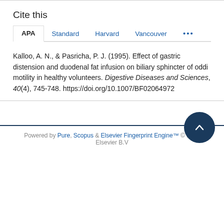Cite this
APA  Standard  Harvard  Vancouver  •••
Kalloo, A. N., & Pasricha, P. J. (1995). Effect of gastric distension and duodenal fat infusion on biliary sphincter of oddi motility in healthy volunteers. Digestive Diseases and Sciences, 40(4), 745-748. https://doi.org/10.1007/BF02064972
Powered by Pure, Scopus & Elsevier Fingerprint Engine™ © 2025 Elsevier B.V